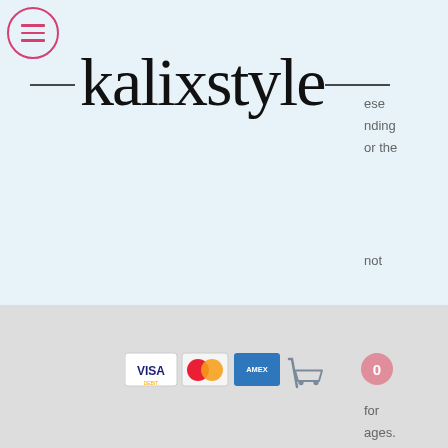[Figure (logo): Kalixstyle handwritten script logo with hamburger menu circle icon]
ese
nding
or the
not
for
ages.
oply
[Figure (other): Payment method icons: VISA, Mastercard, American Express, and shopping cart with 0 badge]
to you.
[Figure (illustration): Decorative origami fox and leaf illustration]
MODEL INFO
REFUND & EXCHANGE
DELIVERY
CONTACT US
TERMS & AGREEMENT
STORE LOCATION